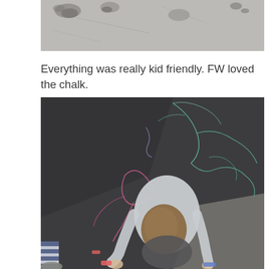[Figure (photo): Top portion of a photo showing a grey asphalt/concrete surface with dark wet spots or stains, cropped at the bottom.]
Everything was really kid friendly. FW loved the chalk.
[Figure (photo): Aerial view of a child crouching on dark asphalt pavement drawing with chalk. Colorful chalk drawings in pink, teal, and purple are visible on the pavement. Another child's legs and striped sleeve are visible on the left edge.]